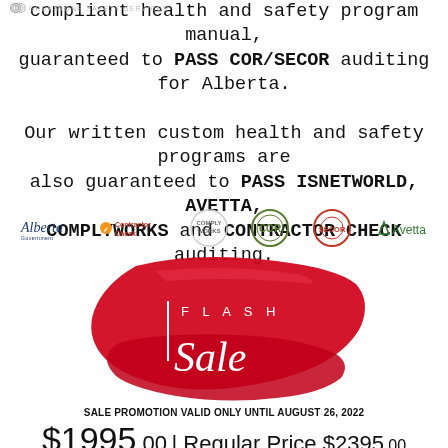[Figure (logo): Greystone Safety Services logo with two CC symbols and text]
compliant health and safety program manual, guaranteed to PASS COR/SECOR auditing for Alberta.

Our written custom health and safety programs are also guaranteed to PASS ISNETWORLD, AVETTA, COMPLYWORKS and CONTRACTOR CHECK auditing.
[Figure (infographic): Row of partner/certification logos: Alberta Government, ContractorCheck, ComplyWorks, COR, SECOR circle logo, Avetta]
[Figure (infographic): Flash Sale red paint brush graphic with text FLASH Sale in white]
SALE PROMOTION VALID ONLY UNTIL AUGUST 26, 2022
$1995.00 | Regular Price $2395.00